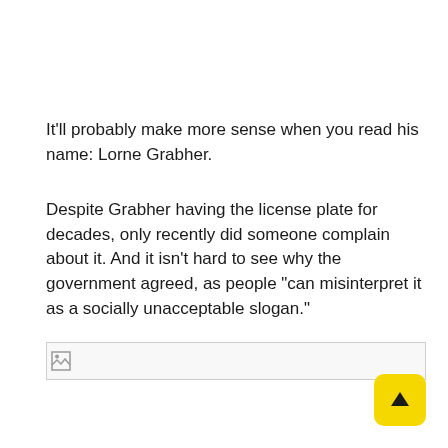It'll probably make more sense when you read his name: Lorne Grabher.
Despite Grabher having the license plate for decades, only recently did someone complain about it. And it isn't hard to see why the government agreed, as people “can misinterpret it as a socially unacceptable slogan.”
[Figure (other): A broken image placeholder with small image icon in top-left corner, with a horizontal divider line above it]
[Figure (other): Yellow rounded square button with upward arrow (scroll to top button) in bottom-right corner]